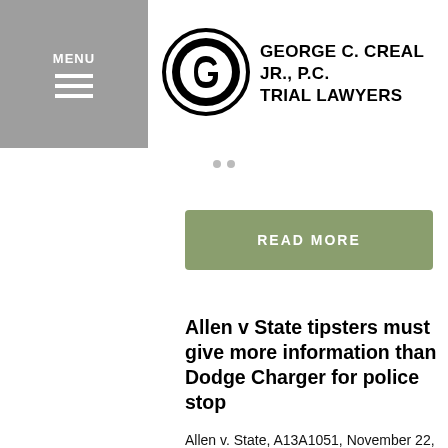GEORGE C. CREAL JR., P.C. TRIAL LAWYERS
[Figure (logo): George C. Creal Jr., P.C. Trial Lawyers logo with circular G emblem]
READ MORE
Allen v State tipsters must give more information than Dodge Charger for police stop
Allen v. State, A13A1051, November 22, 2013. The Court of Appeals reversed the denial of Deondrez Allen’s motion to suppress the marijuana found in her Dodge Charger. A be on the lookout or BOLO was given for a Silver Dodge Charger that was involved in several armed robberies over days in unincorporated